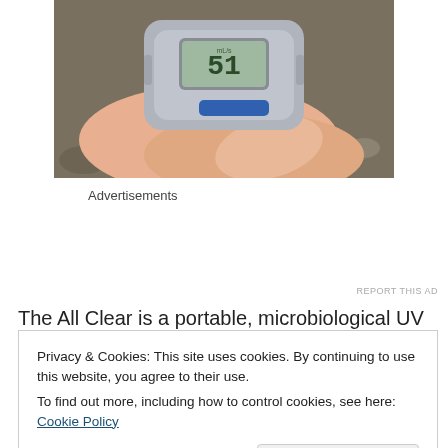[Figure (photo): A hand holding a portable grey UV water purifier device with a digital LCD display showing the number 51, outdoors near rocks/gravel.]
Advertisements
REPORT THIS AD
The All Clear is a portable, microbiological UV water
Privacy & Cookies: This site uses cookies. By continuing to use this website, you agree to their use.
To find out more, including how to control cookies, see here: Cookie Policy
Close and accept
REPORT THIS AD